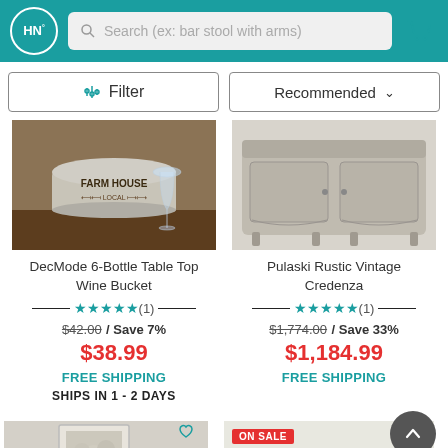HN° Search (ex: bar stool with arms)
Filter | Recommended
[Figure (photo): DecMode 6-Bottle Table Top Wine Bucket product photo showing galvanized metal bucket with Farm House Local text and wine glasses]
DecMode 6-Bottle Table Top Wine Bucket
★★★★★ (1) $42.00 / Save 7% $38.99 FREE SHIPPING SHIPS IN 1 - 2 DAYS
[Figure (photo): Pulaski Rustic Vintage Credenza product photo showing antique-style painted wood cabinet]
Pulaski Rustic Vintage Credenza
★★★★★ (1) $1,774.00 / Save 33% $1,184.99 FREE SHIPPING
[Figure (photo): Bottom left product photo showing framed floral wall art]
[Figure (photo): Bottom right product photo showing black table with green apples, ON SALE badge]